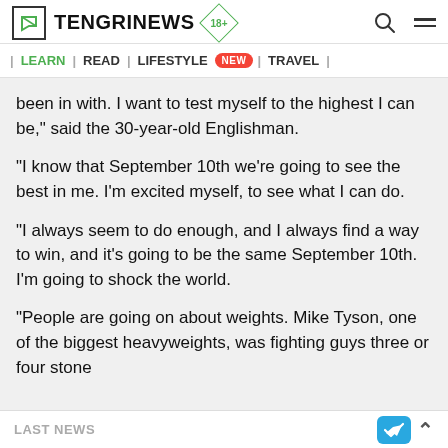TENGRINEWS 18+
| LEARN | READ | LIFESTYLE NEW | TRAVEL |
been in with. I want to test myself to the highest I can be," said the 30-year-old Englishman.
"I know that September 10th we're going to see the best in me. I'm excited myself, to see what I can do.
"I always seem to do enough, and I always find a way to win, and it's going to be the same September 10th. I'm going to shock the world.
"People are going on about weights. Mike Tyson, one of the biggest heavyweights, was fighting guys three or four stone
LAST NEWS